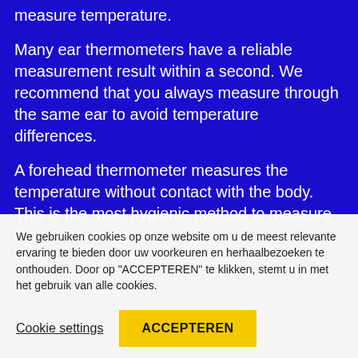measure temperature.
Many ear thermometers have a reliable measurement result within a second. We recommend that you always measure through the same ear to avoid temperature differences.
A forehead thermometer measures the temperature without contact with the body. This is the most hygienic method to measure the temperature.
We gebruiken cookies op onze website om u de meest relevante ervaring te bieden door uw voorkeuren en herhaalbezoeken te onthouden. Door op "ACCEPTEREN" te klikken, stemt u in met het gebruik van alle cookies.
Cookie settings
ACCEPTEREN